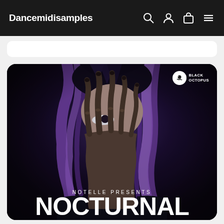Dancemidisamples
[Figure (illustration): Album cover art for 'Notelle Presents Nocturnal' by Black Octopus. A person with purple hair and dark, witch-like long-fingered hands covering their face against a dark background. White text at the bottom reads 'Notelle Presents' and below it 'NOCTURNAL' in large stylized font. Black Octopus logo in upper right corner.]
Notelle Presents
NOCTURNAL